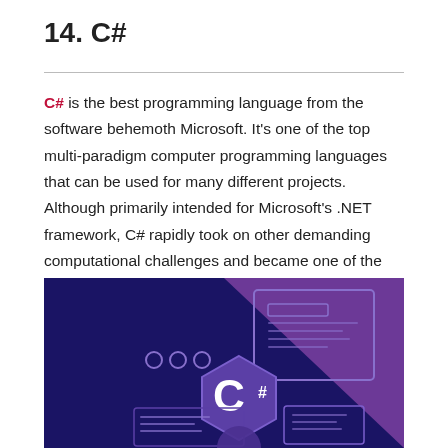14. C#
C# is the best programming language from the software behemoth Microsoft. It's one of the top multi-paradigm computer programming languages that can be used for many different projects. Although primarily intended for Microsoft's .NET framework, C# rapidly took on other demanding computational challenges and became one of the most popular programming languages.
[Figure (illustration): Illustration of C# programming language: dark navy and purple background with hexagonal C# logo badge showing a white 'C' and '#' symbol, surrounded by graphic UI elements representing coding/development interfaces.]